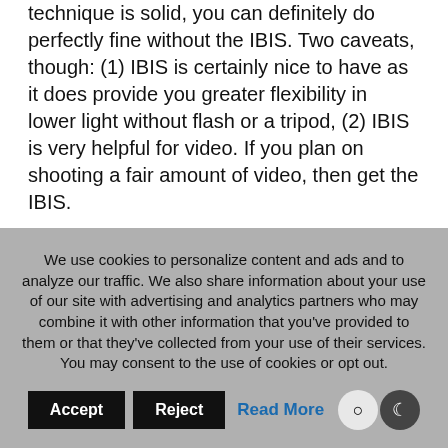technique is solid, you can definitely do perfectly fine without the IBIS. Two caveats, though: (1) IBIS is certainly nice to have as it does provide you greater flexibility in lower light without flash or a tripod, (2) IBIS is very helpful for video. If you plan on shooting a fair amount of video, then get the IBIS.
Perhaps, Jordan has something to add.
Reply
We use cookies to personalize content and ads and to analyze our traffic. We also share information about your use of our site with advertising and analytics partners who may combine it with other information that you've provided to them or that they've collected from your use of their services. You may consent to the use of cookies or opt out.